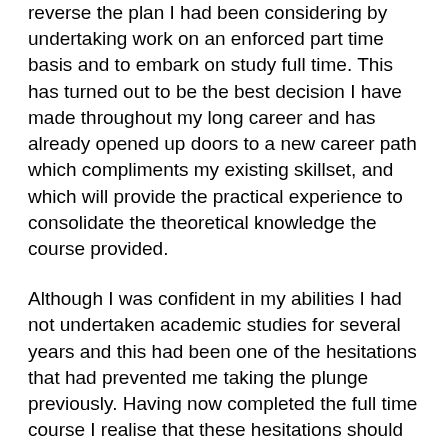reverse the plan I had been considering by undertaking work on an enforced part time basis and to embark on study full time. This has turned out to be the best decision I have made throughout my long career and has already opened up doors to a new career path which compliments my existing skillset, and which will provide the practical experience to consolidate the theoretical knowledge the course provided.
Although I was confident in my abilities I had not undertaken academic studies for several years and this had been one of the hesitations that had prevented me taking the plunge previously. Having now completed the full time course I realise that these hesitations should not have been a barrier as the lecturers were understanding, supportive, extremely knowledgeable, and managed to push you